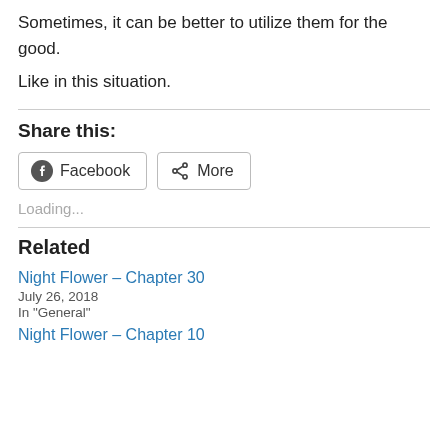Sometimes, it can be better to utilize them for the good.
Like in this situation.
Share this:
[Figure (other): Social share buttons: Facebook and More]
Loading...
Related
Night Flower – Chapter 30
July 26, 2018
In "General"
Night Flower – Chapter 10